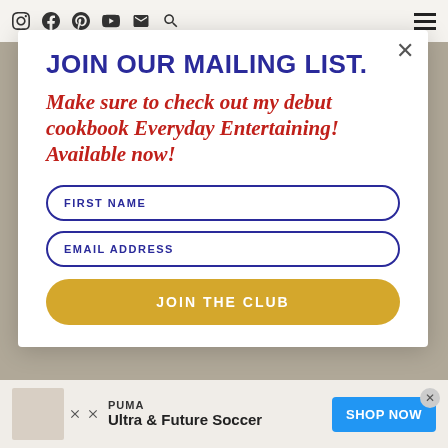Navigation icons: Instagram, Facebook, Pinterest, YouTube, Email, Search, Hamburger menu
JOIN OUR MAILING LIST.
Make sure to check out my debut cookbook Everyday Entertaining! Available now!
FIRST NAME
EMAIL ADDRESS
JOIN THE CLUB
[Figure (screenshot): PUMA advertisement banner with 'Ultra & Future Soccer' text and 'SHOP NOW' blue button]